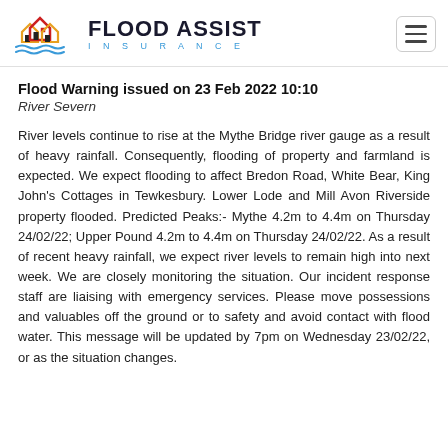FLOOD ASSIST INSURANCE
Flood Warning issued on 23 Feb 2022 10:10
River Severn
River levels continue to rise at the Mythe Bridge river gauge as a result of heavy rainfall. Consequently, flooding of property and farmland is expected. We expect flooding to affect Bredon Road, White Bear, King John's Cottages in Tewkesbury. Lower Lode and Mill Avon Riverside property flooded. Predicted Peaks:- Mythe 4.2m to 4.4m on Thursday 24/02/22; Upper Pound 4.2m to 4.4m on Thursday 24/02/22. As a result of recent heavy rainfall, we expect river levels to remain high into next week. We are closely monitoring the situation. Our incident response staff are liaising with emergency services. Please move possessions and valuables off the ground or to safety and avoid contact with flood water. This message will be updated by 7pm on Wednesday 23/02/22, or as the situation changes.